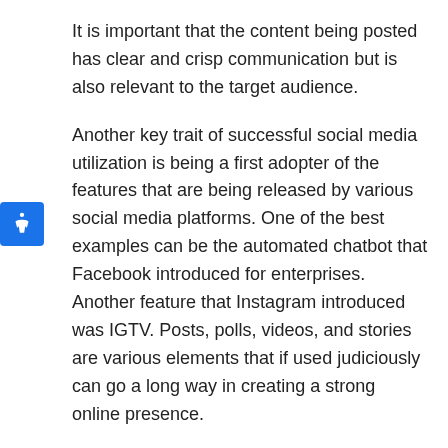It is important that the content being posted has clear and crisp communication but is also relevant to the target audience.
Another key trait of successful social media utilization is being a first adopter of the features that are being released by various social media platforms. One of the best examples can be the automated chatbot that Facebook introduced for enterprises. Another feature that Instagram introduced was IGTV. Posts, polls, videos, and stories are various elements that if used judiciously can go a long way in creating a strong online presence.